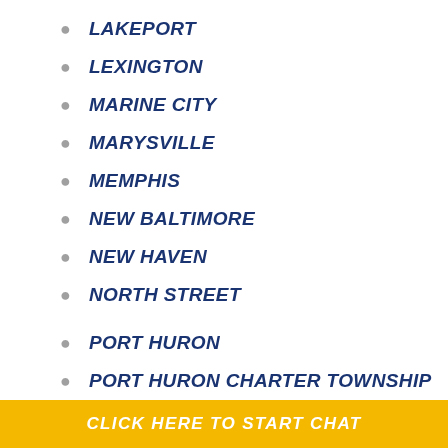LAKEPORT
LEXINGTON
MARINE CITY
MARYSVILLE
MEMPHIS
NEW BALTIMORE
NEW HAVEN
NORTH STREET
PORT HURON
PORT HURON CHARTER TOWNSHIP
RICHMOND
RUBY
CLICK HERE TO START CHAT